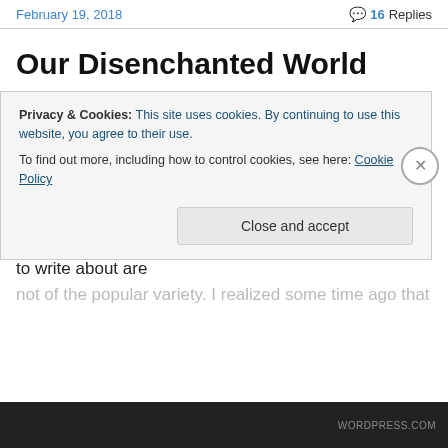February 19, 2018 | 16 Replies
Our Disenchanted World
My previous blog post, the latest in a series about the Death of God, fell on deaf ears for the most part. I am not surprised given the nature of the topic; it is not a popular one. But, then (while I was a bit disappointed to see the lack of response from the two or three readers I tend to count on) many of the topics I choose to write about are not of the popular variety. I realized some time ago that if I
Privacy & Cookies: This site uses cookies. By continuing to use this website, you agree to their use.
To find out more, including how to control cookies, see here: Cookie Policy
Close and accept